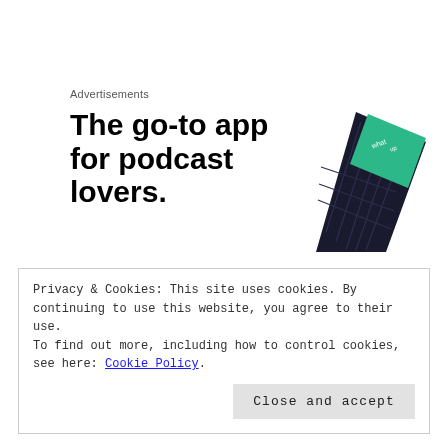Advertisements
The go-to app for podcast lovers.
[Figure (illustration): An illustration of a smartphone/tablet device with a dark screen showing grid lines and a green card element, representing a podcast app interface.]
Come on folks! We owe some difficult work to our grandkids. We all must do more than trust the
Privacy & Cookies: This site uses cookies. By continuing to use this website, you agree to their use.
To find out more, including how to control cookies, see here: Cookie Policy
Close and accept